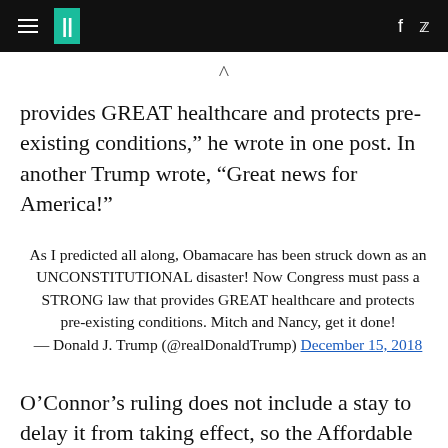HuffPost navigation header with hamburger menu, logo, Facebook and Twitter icons
provides GREAT healthcare and protects pre-existing conditions,” he wrote in one post. In another Trump wrote, “Great news for America!”
As I predicted all along, Obamacare has been struck down as an UNCONSTITUTIONAL disaster! Now Congress must pass a STRONG law that provides GREAT healthcare and protects pre-existing conditions. Mitch and Nancy, get it done!
— Donald J. Trump (@realDonaldTrump) December 15, 2018
O’Connor’s ruling does not include a stay to delay it from taking effect, so the Affordable Care Act is now technically unconstitutional. The ruling